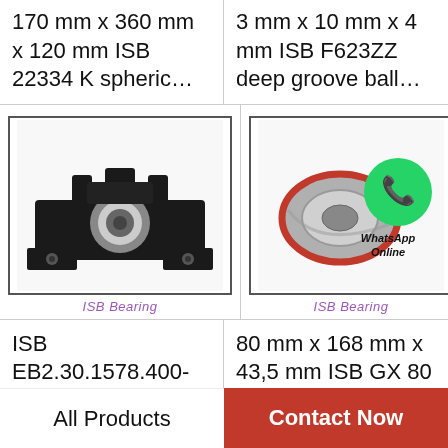170 mm x 360 mm x 120 mm ISB 22334 K spheric…
3 mm x 10 mm x 4 mm ISB F623ZZ deep groove ball…
[Figure (photo): ISB pillow block bearing unit, black cast housing with silver inner ring. Label: ISB Bearing]
[Figure (photo): ISB deep groove ball bearing with red seals, with WhatsApp Online overlay. Label: ISB Bearing]
ISB EB2.30.1578.400-1SPPN thrust ball bearings
80 mm x 168 mm x 43,5 mm ISB GX 80 CP plain…
All Products
Contact Now